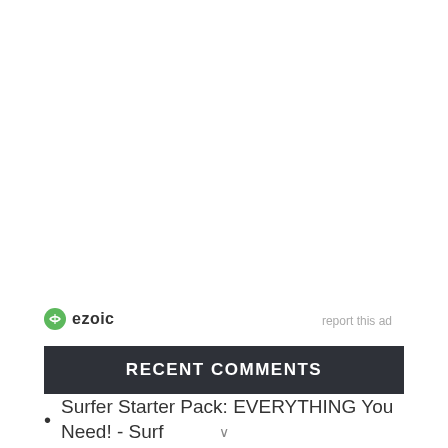[Figure (logo): Ezoic logo with green circle icon and bold 'ezoic' text]
report this ad
RECENT COMMENTS
Surfer Starter Pack: EVERYTHING You Need! - Surf